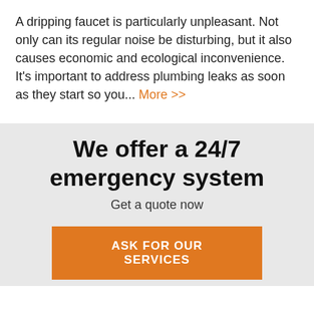A dripping faucet is particularly unpleasant. Not only can its regular noise be disturbing, but it also causes economic and ecological inconvenience. It's important to address plumbing leaks as soon as they start so you...  More >>
We offer a 24/7 emergency system
Get a quote now
ASK FOR OUR SERVICES